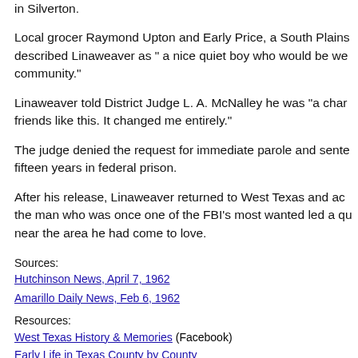in Silverton.
Local grocer Raymond Upton and Early Price, a South Plains described Linaweaver as " a nice quiet boy who would be we community."
Linaweaver told District Judge L. A. McNalley he was "a char friends like this. It changed me entirely."
The judge denied the request for immediate parole and sente fifteen years in federal prison.
After his release, Linaweaver returned to West Texas and ac the man who was once one of the FBI's most wanted led a qu near the area he had come to love.
Sources:
Hutchinson News, April 7, 1962
Amarillo Daily News, Feb 6, 1962
Resources:
West Texas History & Memories (Facebook)
Early Life in Texas County by County
Books about Texas People and Places
Amazing People from Texas County by County
Texas History in the 19th Century (Amazon)
Vintage Texas Photos (eBay)